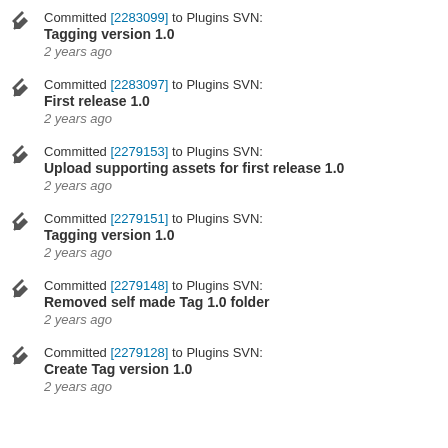Committed [2283099] to Plugins SVN:
Tagging version 1.0
2 years ago
Committed [2283097] to Plugins SVN:
First release 1.0
2 years ago
Committed [2279153] to Plugins SVN:
Upload supporting assets for first release 1.0
2 years ago
Committed [2279151] to Plugins SVN:
Tagging version 1.0
2 years ago
Committed [2279148] to Plugins SVN:
Removed self made Tag 1.0 folder
2 years ago
Committed [2279128] to Plugins SVN:
Create Tag version 1.0
2 years ago